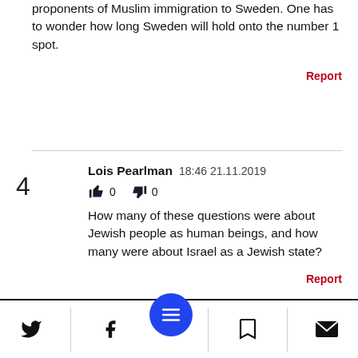proponents of Muslim immigration to Sweden. One has to wonder how long Sweden will hold onto the number 1 spot.
Report
4  Lois Pearlman  18:46 21.11.2019
👍 0  👎 0
How many of these questions were about Jewish people as human beings, and how many were about Israel as a Jewish state?
Report
3  CounterPoint by Joel Stein  17:14 21.11.2019
👍 0  👎 0